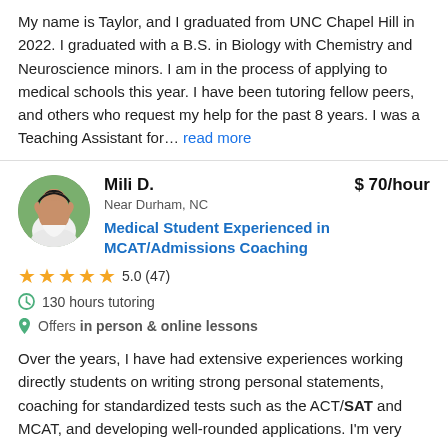My name is Taylor, and I graduated from UNC Chapel Hill in 2022. I graduated with a B.S. in Biology with Chemistry and Neuroscience minors. I am in the process of applying to medical schools this year. I have been tutoring fellow peers, and others who request my help for the past 8 years. I was a Teaching Assistant for... read more
Mili D.
$70/hour
Near Durham, NC
Medical Student Experienced in MCAT/Admissions Coaching
5.0 (47)
130 hours tutoring
Offers in person & online lessons
Over the years, I have had extensive experiences working directly students on writing strong personal statements, coaching for standardized tests such as the ACT/SAT and MCAT, and developing well-rounded applications. I'm very